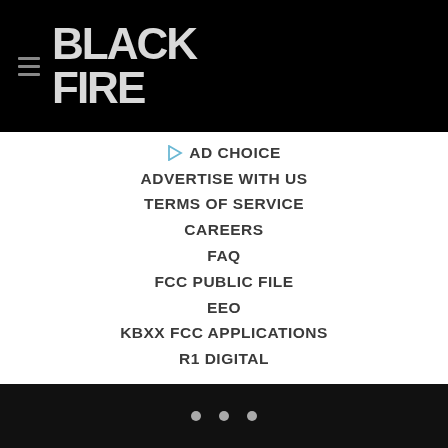BLACK FIRE (logo with hamburger menu)
AD CHOICE
ADVERTISE WITH US
TERMS OF SERVICE
CAREERS
FAQ
FCC PUBLIC FILE
EEO
KBXX FCC APPLICATIONS
R1 DIGITAL
• • •